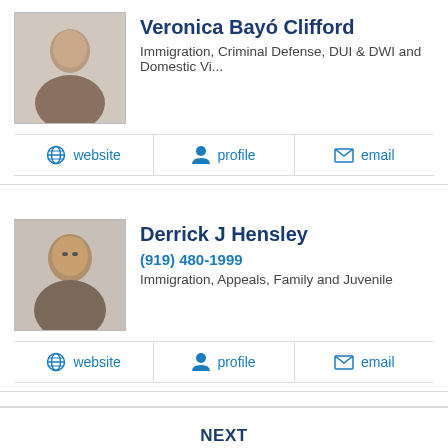Veronica Bayó Clifford
Immigration, Criminal Defense, DUI & DWI and Domestic Vi...
website  profile  email
Derrick J Hensley
(919) 480-1999
Immigration, Appeals, Family and Juvenile
website  profile  email
NEXT
Immigration Attorneys in Nearby Cities